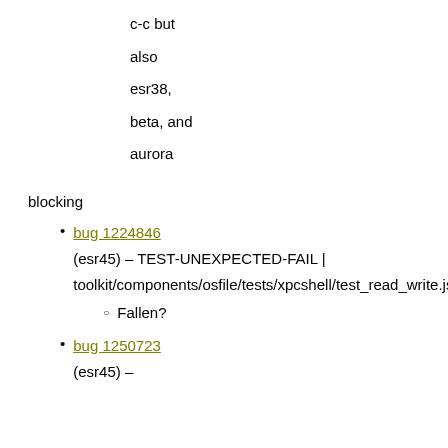c-c but
also
esr38,
beta, and
aurora
blocking
bug 1224846 (esr45) – TEST-UNEXPECTED-FAIL | toolkit/components/osfile/tests/xpcshell/test_read_write.js
  - Fallen?
bug 1250723 (esr45) –